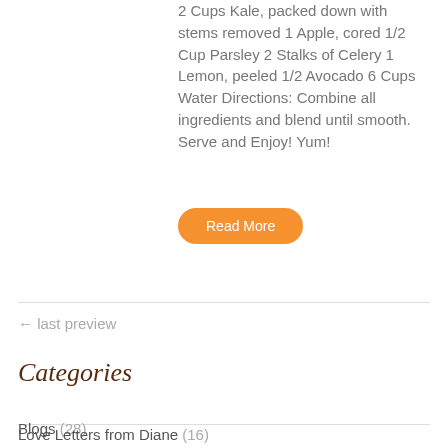2 Cups Kale, packed down with stems removed 1 Apple, cored 1/2 Cup Parsley 2 Stalks of Celery 1 Lemon, peeled 1/2 Avocado 6 Cups Water Directions: Combine all ingredients and blend until smooth. Serve and Enjoy! Yum!
Read More
← last preview
Categories
Blogs (28)
Love Letters from Diane (16)